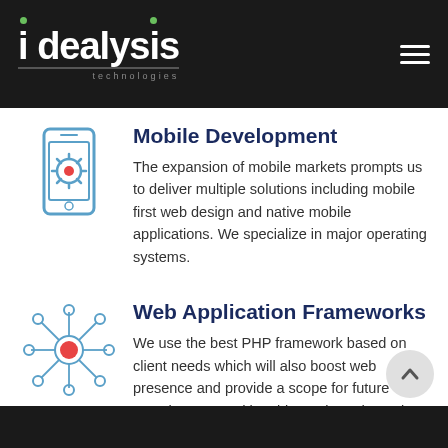idealysis technologies
Mobile Development
The expansion of mobile markets prompts us to deliver multiple solutions including mobile first web design and native mobile applications. We specialize in major operating systems.
Web Application Frameworks
We use the best PHP framework based on client needs which will also boost web presence and provide a scope for future growth. We stand by object-oriented practices, comprehensive code base and guidelines.